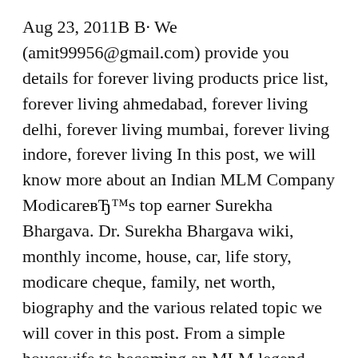Aug 23, 2011В В· We (amit99956@gmail.com) provide you details for forever living products price list, forever living ahmedabad, forever living delhi, forever living mumbai, forever living indore, forever living In this post, we will know more about an Indian MLM Company ModicareвЂ™s top earner Surekha Bhargava. Dr. Surekha Bhargava wiki, monthly income, house, car, life story, modicare cheque, family, net worth, biography and the various related topic we will cover in this post. From a simple housewife to becoming an MLM legend, Dr. Surekha вЂ¦
Discover why over 10 million Forever Business Owners in over 158 countries love Forever Living Products! Price List. Kuwait PRICELIST... Download (over 9 MB) Kuwait PRICELIST. Detail...